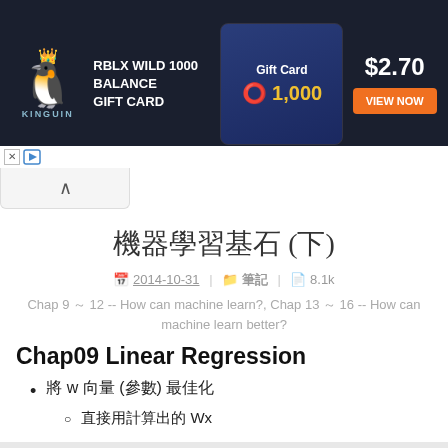[Figure (screenshot): Kinguin advertisement banner: RBLX WILD 1000 BALANCE GIFT CARD, Gift Card 1,000 coins, $2.70, VIEW NOW button on dark navy background]
機器學習基石 (下)
2014-10-31 | 筆記 | 8.1k
Chap 9 ～ 12 -- How can machine learn?, Chap 13 ～ 16 -- How can machine learn better?
Chap09 Linear Regression
將 w 向量 (參數) 最佳化
直接用計算出的 Wx